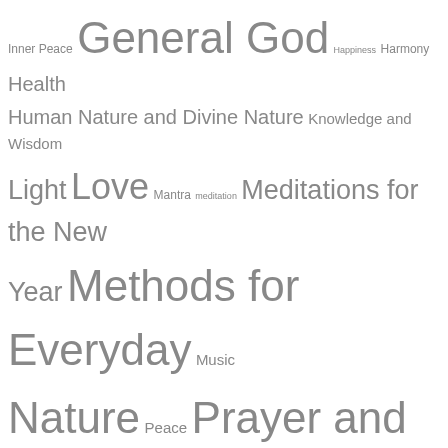[Figure (other): Tag cloud of spiritual and meditative topic categories in various font sizes, all in gray color on white background. Topics include: Inner Peace, General God, Happiness, Harmony, Health, Human Nature and Divine Nature, Knowledge and Wisdom, Light, Love, Mantra, meditation, Meditations for the New Year, Methods for Everyday, Music, Nature, Peace, Prayer and Meditation, Self-transformation and Transcendence, Silence, Society and Politics, Spirit Triumphant, Spiritual Unfoldment, Summer Solstice, Sunrise, Sunrise Meditation, The Autumn Equinox, The New Year, The soul and spirit, The Spring Equinox, Universal Brotherhood, Video Transcripts, Water, Working with Light, Yoga of Nutrition]